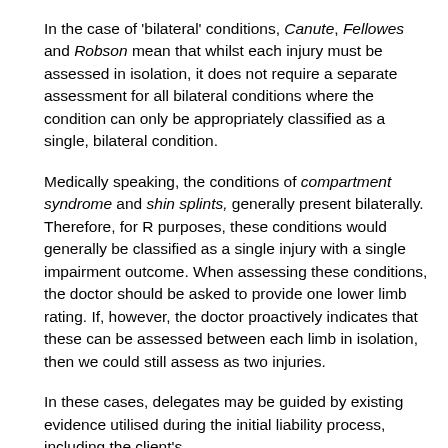In the case of 'bilateral' conditions, Canute, Fellowes and Robson mean that whilst each injury must be assessed in isolation, it does not require a separate assessment for all bilateral conditions where the condition can only be appropriately classified as a single, bilateral condition.
Medically speaking, the conditions of compartment syndrome and shin splints, generally present bilaterally. Therefore, for R purposes, these conditions would generally be classified as a single injury with a single impairment outcome. When assessing these conditions, the doctor should be asked to provide one lower limb rating. If, however, the doctor proactively indicates that these can be assessed between each limb in isolation, then we could still assess as two injuries.
In these cases, delegates may be guided by existing evidence utilised during the initial liability process, including the client's...